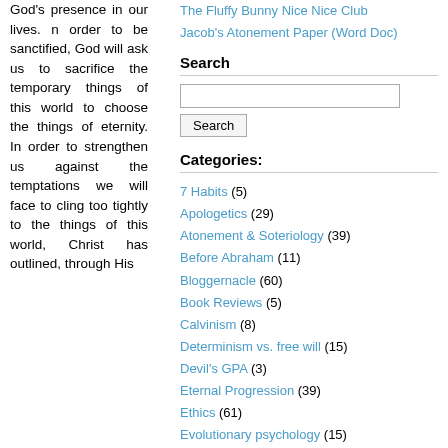God's presence in our lives. n order to be sanctified, God will ask us to sacrifice the temporary things of this world to choose the things of eternity. In order to strengthen us against the temptations we will face to cling too tightly to the things of this world, Christ has outlined, through His
The Fluffy Bunny Nice Nice Club
Jacob's Atonement Paper (Word Doc)
Search
Categories:
7 Habits (5)
Apologetics (29)
Atonement & Soteriology (39)
Before Abraham (11)
Bloggernacle (60)
Book Reviews (5)
Calvinism (8)
Determinism vs. free will (15)
Devil's GPA (3)
Eternal Progression (39)
Ethics (61)
Evolutionary psychology (15)
Feed My Sheep (3)
Foreknowledge (19)
Happiness (20)
Health (3)
King Follett Discourse (5)
Life (312)
McMurrin Reading (4)
MMP (23)
Modesty (10)
Money and getting gain (24)
Mormon Culture/Practices (198)
orthodox (49)
Ostler Reading (17)